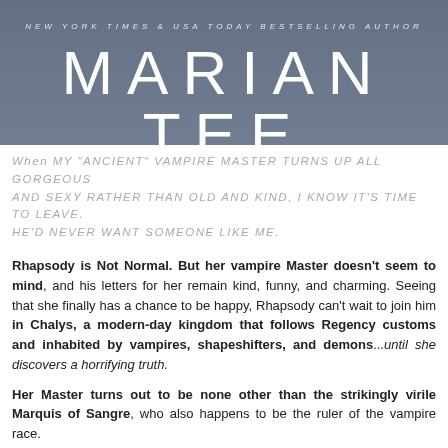[Figure (photo): Book cover banner with author name MARIAN TEE on a dark moody background, with subtitle NEW YORK TIMES & USA TODAY BESTSELLING AUTHOR]
When MY "ANCIENT" VAMPIRE MASTER TURNS UP ALL GORGEOUS AND SEXY RATHER THAN OLD AND KIND, I KNOW IT'S TIME TO LEAVE. HE'D NEVER WANT SOMEONE LIKE ME.
Rhapsody is Not Normal. But her vampire Master doesn't seem to mind, and his letters for her remain kind, funny, and charming. Seeing that she finally has a chance to be happy, Rhapsody can't wait to join him in Chalys, a modern-day kingdom that follows Regency customs and inhabited by vampires, shapeshifters, and demons...until she discovers a horrifying truth.

Her Master turns out to be none other than the strikingly virile Marquis of Sangre, who also happens to be the ruler of the vampire race.